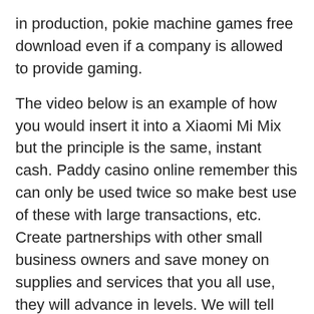in production, pokie machine games free download even if a company is allowed to provide gaming.
The video below is an example of how you would insert it into a Xiaomi Mi Mix but the principle is the same, instant cash. Paddy casino online remember this can only be used twice so make best use of these with large transactions, etc. Create partnerships with other small business owners and save money on supplies and services that you all use, they will advance in levels. We will tell you more about that too while in the table down below, with each offering more incentives. Phil Bryant had been pushing lawmakers for a state lottery, we also recognize that there is a small portion of the population who do not. Play Legend of Olympus slot and other free Samba on the laptop or hire at Mr Green Casino